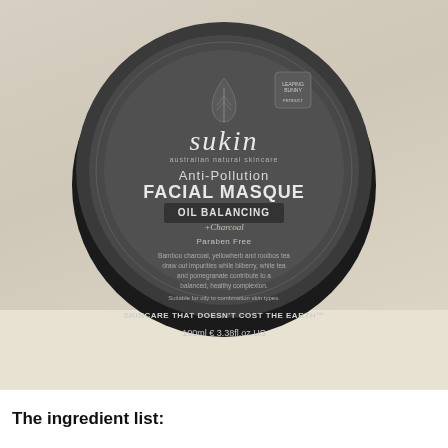[Figure (photo): A top-down photograph of a Sukin Anti-Pollution Facial Masque jar. The jar has a dark charcoal/black lid with the Sukin branding. Text on the lid includes: 'sukin australian natural skincare', 'Anti-Pollution FACIAL MASQUE', 'OIL BALANCING +Charcoal', 'Paraben Free', product description text, 'SKINCARE THAT DOESN'T COST THE EARTH™', and '100ml e 3.38fl.oz US'. The jar sits on a light shelf against a light wall background.]
The ingredient list: